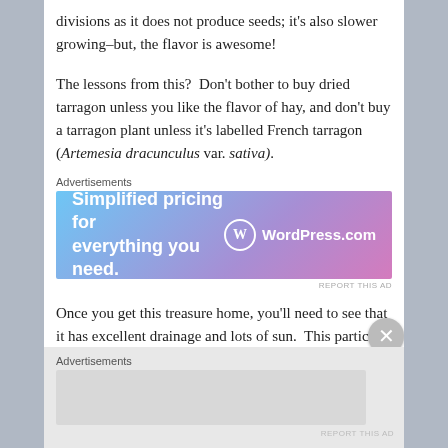divisions as it does not produce seeds; it's also slower growing–but, the flavor is awesome!
The lessons from this?  Don't bother to buy dried tarragon unless you like the flavor of hay, and don't buy a tarragon plant unless it's labelled French tarragon (Artemesia dracunculus var. sativa).
[Figure (other): WordPress.com advertisement banner: 'Simplified pricing for everything you need.' with WordPress.com logo]
Once you get this treasure home, you'll need to see that it has excellent drainage and lots of sun.  This particular herb has a few idiosyncrasies:   it likes a light, richer soil than other herbs such as  thyme, sage or oregano and while it is a hardy perennial, it actually needs (requires) a